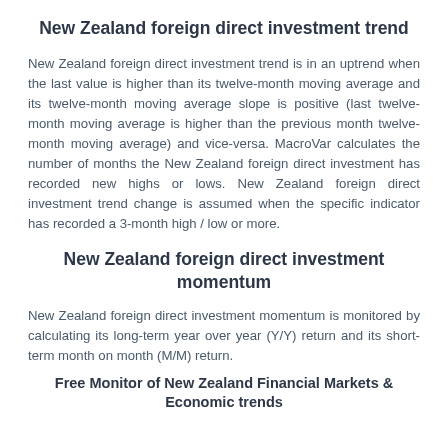New Zealand foreign direct investment trend
New Zealand foreign direct investment trend is in an uptrend when the last value is higher than its twelve-month moving average and its twelve-month moving average slope is positive (last twelve-month moving average is higher than the previous month twelve-month moving average) and vice-versa. MacroVar calculates the number of months the New Zealand foreign direct investment has recorded new highs or lows. New Zealand foreign direct investment trend change is assumed when the specific indicator has recorded a 3-month high / low or more.
New Zealand foreign direct investment momentum
New Zealand foreign direct investment momentum is monitored by calculating its long-term year over year (Y/Y) return and its short-term month on month (M/M) return.
Free Monitor of New Zealand Financial Markets & Economic trends